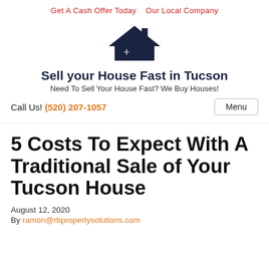Get A Cash Offer Today   Our Local Company
[Figure (logo): House icon with roof and chimney in dark navy blue]
Sell your House Fast in Tucson
Need To Sell Your House Fast? We Buy Houses!
Call Us! (520) 207-1057
5 Costs To Expect With A Traditional Sale of Your Tucson House
August 12, 2020
By ramon@rbpropertysolutions.com